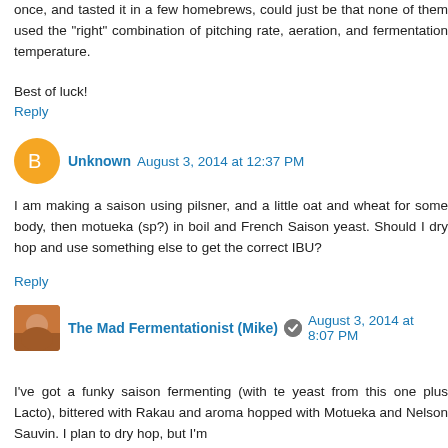once, and tasted it in a few homebrews, could just be that none of them used the "right" combination of pitching rate, aeration, and fermentation temperature.
Best of luck!
Reply
Unknown  August 3, 2014 at 12:37 PM
I am making a saison using pilsner, and a little oat and wheat for some body, then motueka (sp?) in boil and French Saison yeast. Should I dry hop and use something else to get the correct IBU?
Reply
The Mad Fermentationist (Mike)  August 3, 2014 at 8:07 PM
I've got a funky saison fermenting (with te yeast from this one plus Lacto), bittered with Rakau and aroma hopped with Motueka and Nelson Sauvin. I plan to dry hop, but I'm